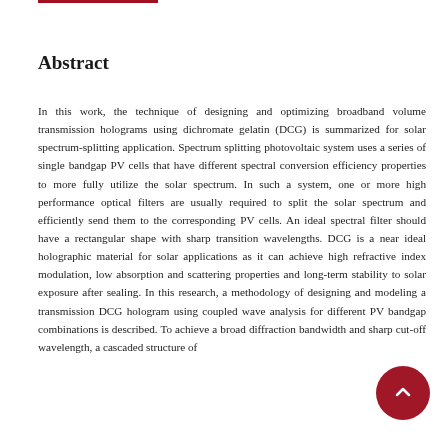Abstract
In this work, the technique of designing and optimizing broadband volume transmission holograms using dichromate gelatin (DCG) is summarized for solar spectrum-splitting application. Spectrum splitting photovoltaic system uses a series of single bandgap PV cells that have different spectral conversion efficiency properties to more fully utilize the solar spectrum. In such a system, one or more high performance optical filters are usually required to split the solar spectrum and efficiently send them to the corresponding PV cells. An ideal spectral filter should have a rectangular shape with sharp transition wavelengths. DCG is a near ideal holographic material for solar applications as it can achieve high refractive index modulation, low absorption and scattering properties and long-term stability to solar exposure after sealing. In this research, a methodology of designing and modeling a transmission DCG hologram using coupled wave analysis for different PV bandgap combinations is described. To achieve a broad diffraction bandwidth and sharp cut-off wavelength, a cascaded structure of